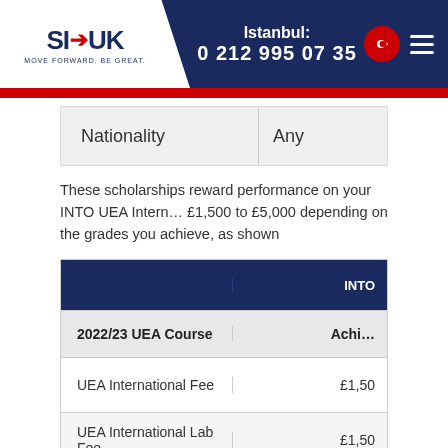Istanbul: 0 212 995 07 35
| Nationality | Any |
| --- | --- |
These scholarships reward performance on your INTO UEA International Foundation Programme. Scholarships range from £1,500 to £5,000 depending on the grades you achieve, as shown
| 2022/23 UEA Course | INTO Achieved Grade |
| --- | --- |
| UEA International Fee | £1,50 |
| UEA International Lab Fee | £1,50 |
You need to be independently funding your studies, which means paying your tuition fees for you. However, if you are in receipt of a
The scholarship will automatically be awarded in the form of a first